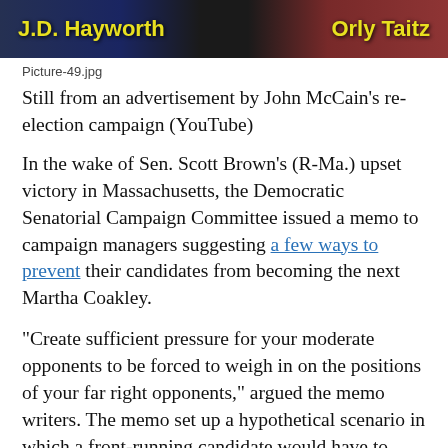[Figure (photo): TV-style banner graphic showing names 'J.D. Hayworth' on the left in yellow bold text and 'Orly Taitz' on the right in yellow bold text, against a dark background with blue and red overlays]
Picture-49.jpg
Still from an advertisement by John McCain's re-election campaign (YouTube)
In the wake of Sen. Scott Brown’s (R-Ma.) upset victory in Massachusetts, the Democratic Senatorial Campaign Committee issued a memo to campaign managers suggesting a few ways to prevent their candidates from becoming the next Martha Coakley.
“Create sufficient pressure for your moderate opponents to be forced to weigh in on the positions of your far right opponents,” argued the memo writers. The memo set up a hypothetical scenario in which a front-running candidate would have to respond to